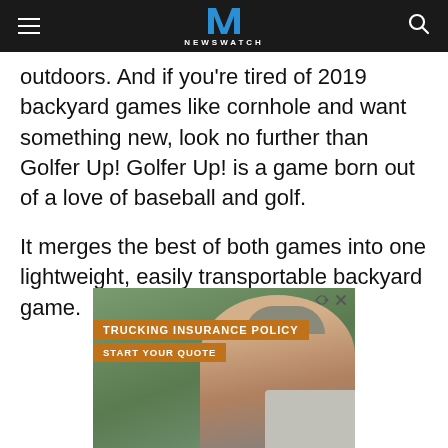NEWSWATCH
outdoors. And if you’re tired of 2019 backyard games like cornhole and want something new, look no further than Golfer Up! Golfer Up! is a game born out of a love of baseball and golf.
It merges the best of both games into one lightweight, easily transportable backyard game.
[Figure (photo): Advertisement for trucking insurance policy showing a man in a cap next to a truck with orange banners reading 'TRUCKING INSURANCE POLICY' and 'START YOUR QUOTE']